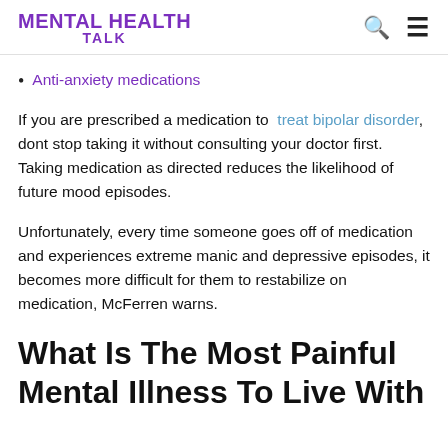MENTAL HEALTH TALK
Anti-anxiety medications
If you are prescribed a medication to treat bipolar disorder, dont stop taking it without consulting your doctor first. Taking medication as directed reduces the likelihood of future mood episodes.
Unfortunately, every time someone goes off of medication and experiences extreme manic and depressive episodes, it becomes more difficult for them to restabilize on medication, McFerren warns.
What Is The Most Painful Mental Illness To Live With